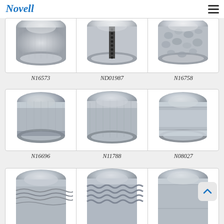Novell (logo) with hamburger menu
[Figure (photo): Three silver wedding rings partially cut off at top: plain satin finish band (N16573), band with black diamond channel center (ND01987), hammered texture band (N16758)]
N16573   ND01987   N16758
[Figure (photo): Three silver wedding rings: flat/beveled satin band (N16696), wide domed satin band (N11788), stepped edge polished band (N08027)]
N16696   N11788   N08027
[Figure (photo): Three silver wedding rings partially cut off at bottom, with decorative rope/braid patterns]